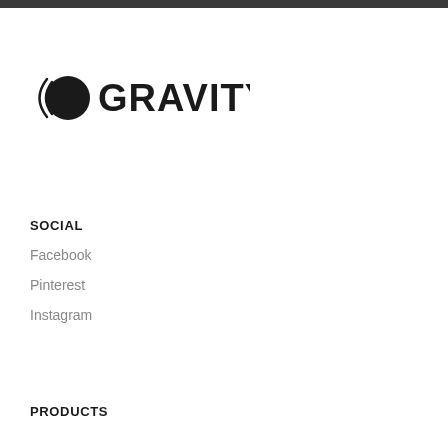[Figure (logo): Gravity logo: a dark circle with crescent arc lines on the left side, followed by the text GRAVITY in bold black uppercase letters]
SOCIAL
Facebook
Pinterest
Instagram
PRODUCTS